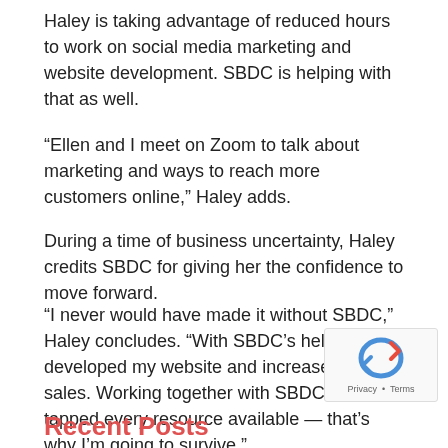Haley is taking advantage of reduced hours to work on social media marketing and website development. SBDC is helping with that as well.
“Ellen and I meet on Zoom to talk about marketing and ways to reach more customers online,” Haley adds.
During a time of business uncertainty, Haley credits SBDC for giving her the confidence to move forward.
“I never would have made it without SBDC,” Haley concludes. “With SBDC’s help I’ve developed my website and increased online sales. Working together with SBDC I’ve tapped every resource available — that’s why I’m going to survive.”
[Figure (other): reCAPTCHA widget with Privacy and Terms links]
Recent Posts